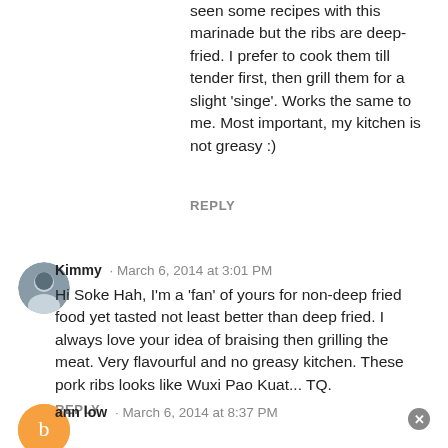seen some recipes with this marinade but the ribs are deep-fried. I prefer to cook them till tender first, then grill them for a slight 'singe'. Works the same to me. Most important, my kitchen is not greasy :)
REPLY
Kimmy · March 6, 2014 at 3:01 PM
Hi Soke Hah, I'm a 'fan' of yours for non-deep fried food yet tasted not least better than deep fried. I always love your idea of braising then grilling the meat. Very flavourful and no greasy kitchen. These pork ribs looks like Wuxi Pao Kuat... TQ.
REPLY
ann low · March 6, 2014 at 8:37 PM